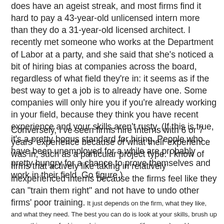does have an ageist streak, and most firms find it hard to pay a 43-year-old unlicensed intern more than they do a 31-year-old licensed architect. I recently met someone who works at the Department of Labor at a party, and she said that she's noticed a bit of hiring bias at companies across the board, regardless of what field they're in: it seems as if the best way to get a job is to already have one. Some companies will only hire you if you're already working in your field, because they think you have recent experience and your skills aren't rusty. (If this is true, it's a pretty bogus standard for hiring. People who have been unemployed for a while are probably pretty hungry for a chance to prove themselves and work in their field. Go figure.)
Conversely, I've seen firms hire interns with 6 or 7 years' experience because of what their experience was in, such as a particular project type. I know of firms that actively like taking in relatively inexperienced interns because the firms feel like they can "train them right" and not have to undo other firms' poor training. It just depends on the firm, what they like, and what they need. The best you can do is look at your skills, brush up on anything you feel is weak in your resume (if you can), and keep